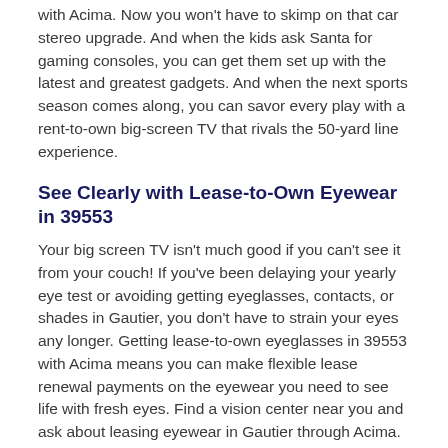with Acima. Now you won't have to skimp on that car stereo upgrade. And when the kids ask Santa for gaming consoles, you can get them set up with the latest and greatest gadgets. And when the next sports season comes along, you can savor every play with a rent-to-own big-screen TV that rivals the 50-yard line experience.
See Clearly with Lease-to-Own Eyewear in 39553
Your big screen TV isn't much good if you can't see it from your couch! If you've been delaying your yearly eye test or avoiding getting eyeglasses, contacts, or shades in Gautier, you don't have to strain your eyes any longer. Getting lease-to-own eyeglasses in 39553 with Acima means you can make flexible lease renewal payments on the eyewear you need to see life with fresh eyes. Find a vision center near you and ask about leasing eyewear in Gautier through Acima. Shop now, all without credit.
Lease-to-own Furniture in Gautier,